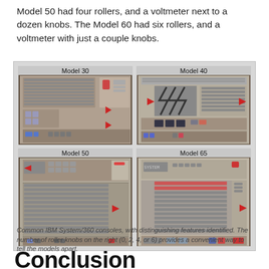Model 50 had four rollers, and a voltmeter next to a dozen knobs. The Model 60 had six rollers, and a voltmeter with just a couple knobs.
[Figure (photo): Four IBM System/360 console models (Model 30, Model 40, Model 50, Model 65) arranged in a 2x2 grid inside a bordered box. Each console photo has red arrows pointing to distinguishing features.]
Common IBM System/360 consoles, with distinguishing features identified. The number of roller knobs on the right (0, 2, 4, or 6) provides a convenient way to tell the models apart.
Conclusion